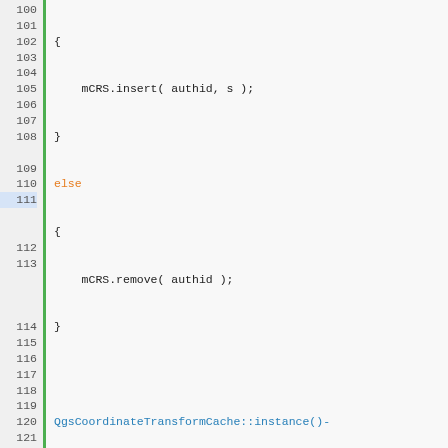[Figure (screenshot): Source code screenshot showing C++ code for QgsCRSCache with line numbers 100-128. Uses syntax highlighting: orange for keywords (else, if, return, const), blue for class names (QgsCoordinateReferenceSystem, QgsCRSCache, etc.), black/dark for other code. Green vertical bar separates line numbers from code.]